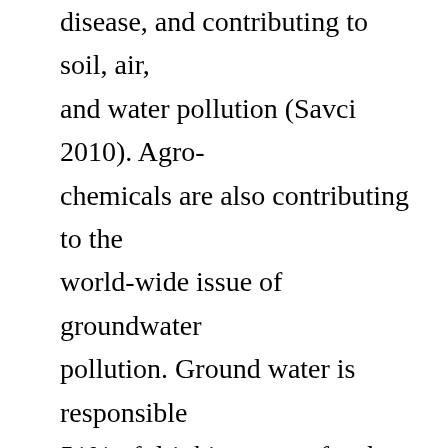disease, and contributing to soil, air, and water pollution (Savci 2010). Agrochemicals are also contributing to the world-wide issue of groundwater pollution. Ground water is responsible 51% of drinking water for the U.S. and accounts for 64% of irrigation that is used to grow our crops so once it is polluted with toxic chemicals, it may take many years for the contamination to dissipate, or clean up (US EPA 2001). These chemicals combined have contaminated almost every aspect of our environment. Therefore, there is a need for reinvestigation and...